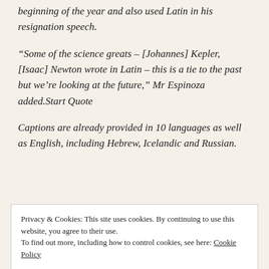beginning of the year and also used Latin in his resignation speech.
“Some of the science greats – [Johannes] Kepler, [Isaac] Newton wrote in Latin – this is a tie to the past but we’re looking at the future,” Mr Espinoza added.Start Quote
Captions are already provided in 10 languages as well as English, including Hebrew, Icelandic and Russian.
Privacy & Cookies: This site uses cookies. By continuing to use this website, you agree to their use.
To find out more, including how to control cookies, see here: Cookie Policy
Close and accept
Project, a UK-based Latin language outreach